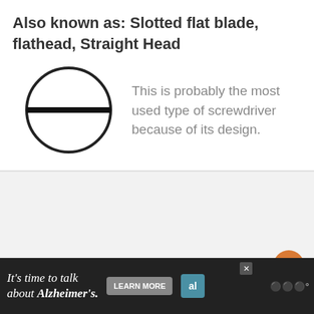Also known as: Slotted flat blade, flathead, Straight Head
[Figure (illustration): A circle with a horizontal line through its center, representing the top view of a flathead/slotted screwdriver bit]
This is probably the most used type of screwdriver because of its design.
[Figure (other): Gray section with scroll-to-top button (orange circle with double up chevron) and three dots navigation indicator]
[Figure (other): Advertisement banner: It's time to talk about Alzheimer's. LEARN MORE button. Alzheimer's Association logo. Close button. Weatherbug logo on right.]